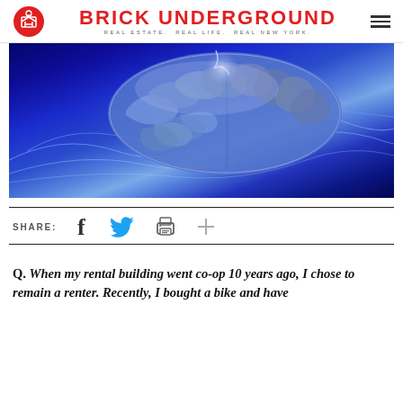BRICK UNDERGROUND — REAL ESTATE. REAL LIFE. REAL NEW YORK.
[Figure (photo): Glowing blue 3D illustration of a human brain with electric neural wave patterns on a dark blue background]
SHARE:
Q. When my rental building went co-op 10 years ago, I chose to remain a renter. Recently, I bought a bike and have